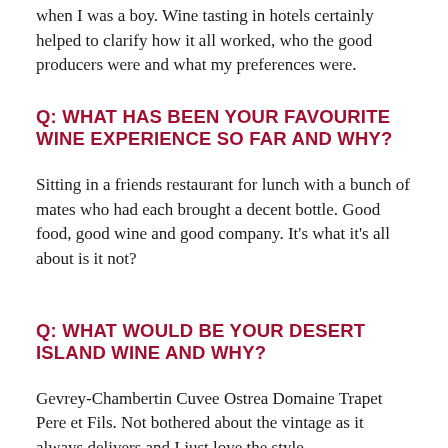when I was a boy. Wine tasting in hotels certainly helped to clarify how it all worked, who the good producers were and what my preferences were.
Q: WHAT HAS BEEN YOUR FAVOURITE WINE EXPERIENCE SO FAR AND WHY?
Sitting in a friends restaurant for lunch with a bunch of mates who had each brought a decent bottle. Good food, good wine and good company. It's what it's all about is it not?
Q: WHAT WOULD BE YOUR DESERT ISLAND WINE AND WHY?
Gevrey-Chambertin Cuvee Ostrea Domaine Trapet Pere et Fils. Not bothered about the vintage as it always delivers and I just love the style.